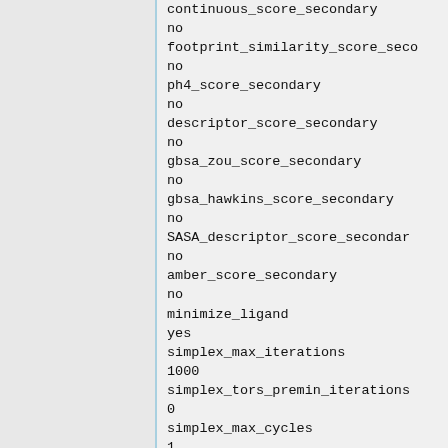continuous_score_secondary
no
footprint_similarity_score_secondary
no
ph4_score_secondary
no
descriptor_score_secondary
no
gbsa_zou_score_secondary
no
gbsa_hawkins_score_secondary
no
SASA_descriptor_score_secondary
no
amber_score_secondary
no
minimize_ligand
yes
simplex_max_iterations
1000
simplex_tors_premin_iterations
0
simplex_max_cycles
1
simplex_score_converge